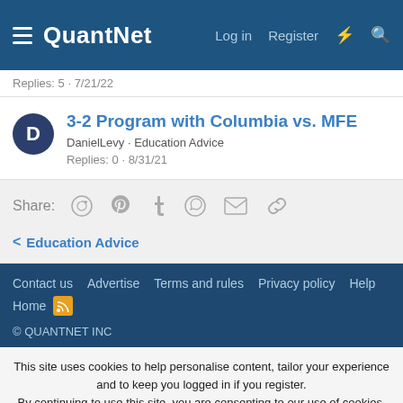QuantNet | Log in | Register
Replies: 5 · 7/21/22
3-2 Program with Columbia vs. MFE
DanielLevy · Education Advice
Replies: 0 · 8/31/21
Share:
< Education Advice
Contact us  Advertise  Terms and rules  Privacy policy  Help
Home
© QUANTNET INC
This site uses cookies to help personalise content, tailor your experience and to keep you logged in if you register.
By continuing to use this site, you are consenting to our use of cookies.